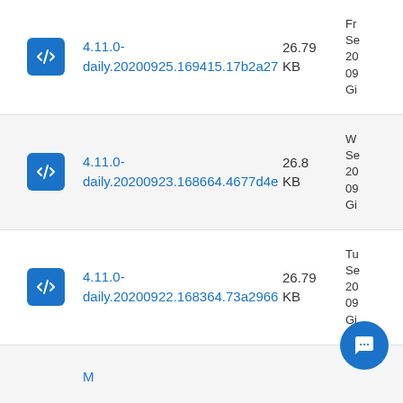4.11.0-daily.20200925.169415.17b2a27 26.79 KB Fr Se 20 09 Gi
4.11.0-daily.20200923.168664.4677d4e 26.8 KB W Se 20 09 Gi
4.11.0-daily.20200922.168364.73a2966 26.79 KB Tu Se 20 09 Gi